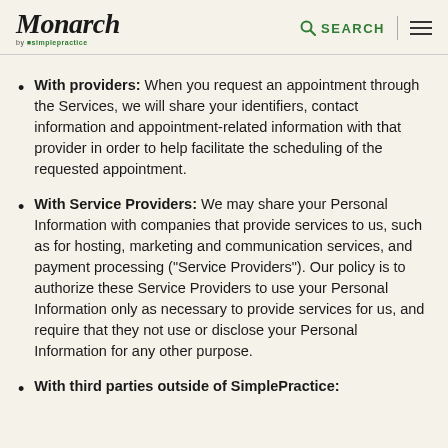Monarch by SimplePractice — SEARCH
With providers: When you request an appointment through the Services, we will share your identifiers, contact information and appointment-related information with that provider in order to help facilitate the scheduling of the requested appointment.
With Service Providers: We may share your Personal Information with companies that provide services to us, such as for hosting, marketing and communication services, and payment processing (“Service Providers”). Our policy is to authorize these Service Providers to use your Personal Information only as necessary to provide services for us, and require that they not use or disclose your Personal Information for any other purpose.
With third parties outside of SimplePractice: